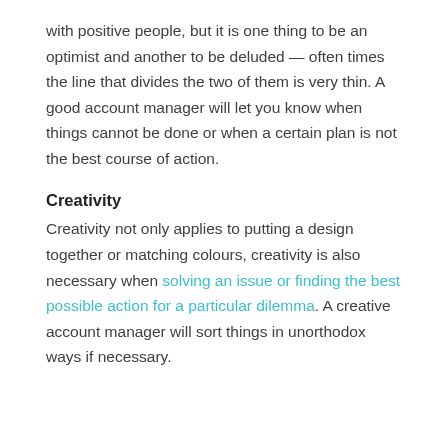with positive people, but it is one thing to be an optimist and another to be deluded — often times the line that divides the two of them is very thin. A good account manager will let you know when things cannot be done or when a certain plan is not the best course of action.
Creativity
Creativity not only applies to putting a design together or matching colours, creativity is also necessary when solving an issue or finding the best possible action for a particular dilemma. A creative account manager will sort things in unorthodox ways if necessary.